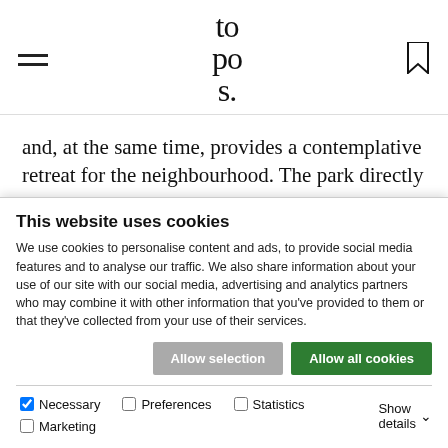topos.
and, at the same time, provides a contemplative retreat for the neighbourhood. The park directly adjoins a currently ongoing mixed-use and affordable housing development project, the city's largest since the 1970s.
Waterfront Long Island City
This website uses cookies
We use cookies to personalise content and ads, to provide social media features and to analyse our traffic. We also share information about your use of our site with our social media, advertising and analytics partners who may combine it with other information that you've provided to them or that they've collected from your use of their services.
Allow selection | Allow all cookies
Necessary | Preferences | Statistics | Marketing | Show details